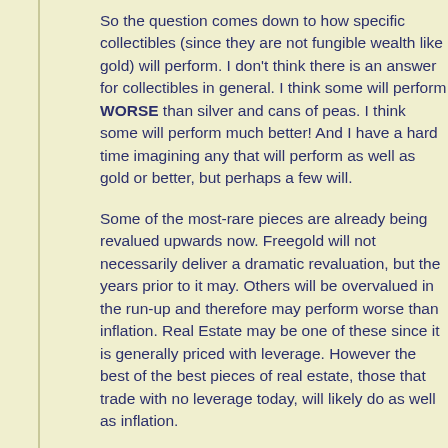So the question comes down to how specific collectibles (since they are not fungible wealth like gold) will perform. I don't think there is an answer for collectibles in general. I think some will perform WORSE than silver and cans of peas. I think some will perform much better! And I have a hard time imagining any that will perform as well as gold or better, but perhaps a few will.
Some of the most-rare pieces are already being revalued upwards now. Freegold will not necessarily deliver a dramatic revaluation, but the years prior to it may. Others will be overvalued in the run-up and therefore may perform worse than inflation. Real Estate may be one of these since it is generally priced with leverage. However the best of the best pieces of real estate, those that trade with no leverage today, will likely do as well as inflation.
And then the next question is would it be worth trading an extremely rare item for an abundant one like gold for a profit from the transition? I cannot answer that question for you. "It depends!" On many things. I think it would have to be analyzed on a case by case basis for each and every item. And then think about the liquidity of those items. Will the people that would buy them today be in gold through the transition so that they would still be able to buy them tomorrow? Lots of things to think about. Read my old post Mona Lisa or Ben Franklin. But try to imagine it as "Mona Lisa or